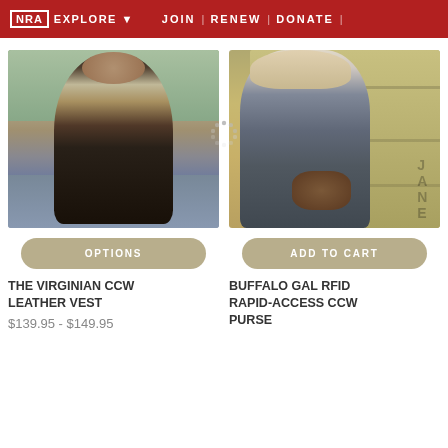NRA EXPLORE ▾  JOIN | RENEW | DONATE |
[Figure (photo): Man wearing a dark leather vest standing outdoors near water]
[Figure (photo): Woman wearing a camo NRA jacket holding a brown purse, standing near a yellow shipping container]
OPTIONS
ADD TO CART
THE VIRGINIAN CCW LEATHER VEST
BUFFALO GAL RFID RAPID-ACCESS CCW PURSE
$139.95 - $149.95